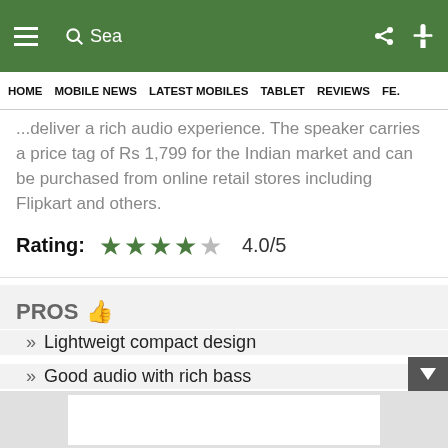☰  Sea  🔗 🎙
HOME  MOBILE NEWS  LATEST MOBILES  TABLET  REVIEWS  FE...
...deliver a rich audio experience. The speaker carries a price tag of Rs 1,799 for the Indian market and can be purchased from online retail stores including Flipkart and others.
Rating:  ★★★★☆  4.0/5
PROS 👍
» Lightweigt compact design
» Good audio with rich bass
» Decent battery backup
CONS 👎